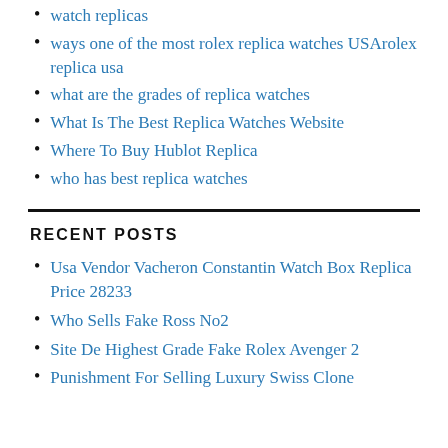watch replicas
ways one of the most rolex replica watches USArolex replica usa
what are the grades of replica watches
What Is The Best Replica Watches Website
Where To Buy Hublot Replica
who has best replica watches
RECENT POSTS
Usa Vendor Vacheron Constantin Watch Box Replica Price 28233
Who Sells Fake Ross No2
Site De Highest Grade Fake Rolex Avenger 2
Punishment For Selling Luxury Swiss Clone